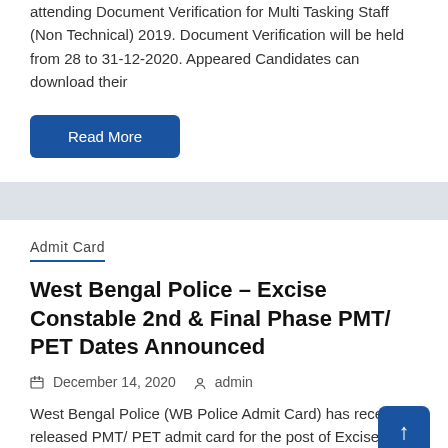attending Document Verification for Multi Tasking Staff (Non Technical) 2019. Document Verification will be held from 28 to 31-12-2020. Appeared Candidates can download their
Read More
Admit Card
West Bengal Police – Excise Constable 2nd & Final Phase PMT/ PET Dates Announced
December 14, 2020   admin
West Bengal Police (WB Police Admit Card) has recently released PMT/ PET admit card for the post of Excise Constable (including Lady Excise Constable) in the